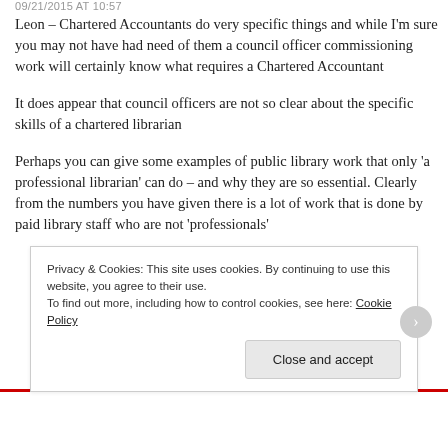09/21/2015 AT 10:57
Leon – Chartered Accountants do very specific things and while I'm sure you may not have had need of them a council officer commissioning work will certainly know what requires a Chartered Accountant
It does appear that council officers are not so clear about the specific skills of a chartered librarian
Perhaps you can give some examples of public library work that only 'a professional librarian' can do – and why they are so essential. Clearly from the numbers you have given there is a lot of work that is done by paid library staff who are not 'professionals'
Privacy & Cookies: This site uses cookies. By continuing to use this website, you agree to their use.
To find out more, including how to control cookies, see here: Cookie Policy